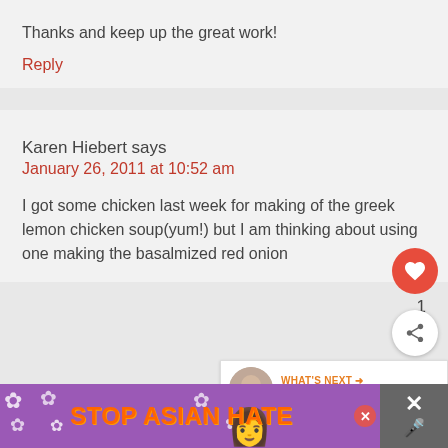Thanks and keep up the great work!
Reply
Karen Hiebert says
January 26, 2011 at 10:52 am
I got some chicken last week for making of the greek lemon chicken soup(yum!) but I am thinking about using one making the basalmized red onion
[Figure (screenshot): Stop Asian Hate advertisement banner at the bottom of the page with purple background, orange text, and close button]
[Figure (infographic): What's Next overlay with a circular food image thumbnail and text 'What to Make When......']